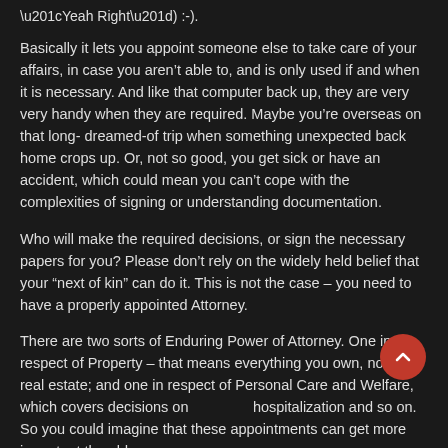“Yeah Right”) :-).
Basically it lets you appoint someone else to take care of your affairs, in case you aren’t able to, and is only used if and when it is necessary. And like that computer back up, they are very very handy when they are required. Maybe you’re overseas on that long- dreamed-of trip when something unexpected back home crops up. Or, not so good, you get sick or have an accident, which could mean you can’t cope with the complexities of signing or understanding documentation.
Who will make the required decisions, or sign the necessary papers for you? Please don’t rely on the widely held belief that your “next of kin” can do it. This is not the case – you need to have a properly appointed Attorney.
There are two sorts of Enduring Power of Attorney. One in respect of Property – that means everything you own, not just real estate; and one in respect of Personal Care and Welfare, which covers decisions on hospitalization and so on. So you could imagine that these appointments can get more important the older you are.